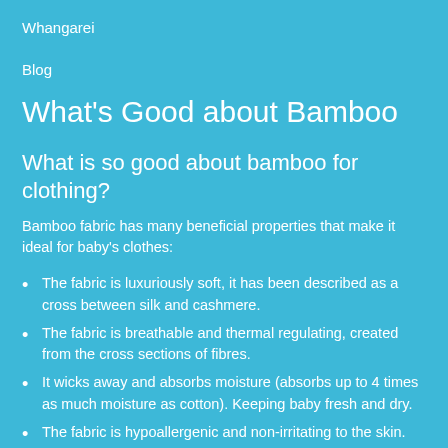Whangarei
Blog
What's Good about Bamboo
What is so good about bamboo for clothing?
Bamboo fabric has many beneficial properties that make it ideal for baby's clothes:
The fabric is luxuriously soft, it has been described as a cross between silk and cashmere.
The fabric is breathable and thermal regulating, created from the cross sections of fibres.
It wicks away and absorbs moisture (absorbs up to 4 times as much moisture as cotton). Keeping baby fresh and dry.
The fabric is hypoallergenic and non-irritating to the skin.